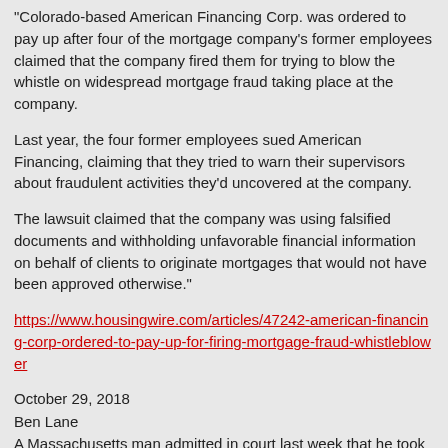"Colorado-based American Financing Corp. was ordered to pay up after four of the mortgage company's former employees claimed that the company fired them for trying to blow the whistle on widespread mortgage fraud taking place at the company.
Last year, the four former employees sued American Financing, claiming that they tried to warn their supervisors about fraudulent activities they'd uncovered at the company.
The lawsuit claimed that the company was using falsified documents and withholding unfavorable financial information on behalf of clients to originate mortgages that would not have been approved otherwise."
https://www.housingwire.com/articles/47242-american-financing-corp-ordered-to-pay-up-for-firing-mortgage-fraud-whistleblower
October 29, 2018
Ben Lane
A Massachusetts man admitted in court last week that he took part in a nearly decade-long multifamily mortgage fraud conspiracy that defrauded financial institutions of millions of dollars. Court documents showed that Joseph Bates and other conspirators took part in a mortgage fraud scheme that stretched from 2006 through 2015, involved at least two dozen fraudulent loan transactions, and caused $4.3 million in losses to